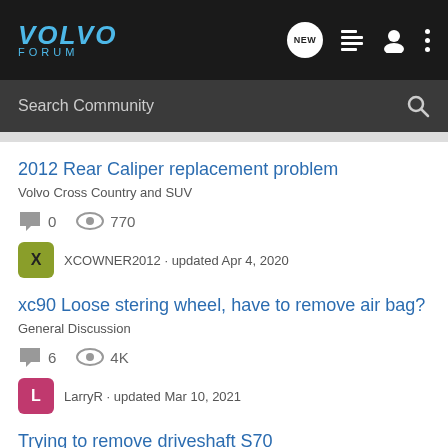[Figure (logo): Volvo Forum logo in blue italic text on dark background header with navigation icons (NEW bubble, list icon, user icon, dots menu)]
Search Community
2012 Rear Caliper replacement problem
Volvo Cross Country and SUV
0 comments  770 views
XCOWNER2012 · updated Apr 4, 2020
xc90 Loose stering wheel, have to remove air bag?
General Discussion
6 comments  4K views
LarryR · updated Mar 10, 2021
Trying to remove driveshaft S70